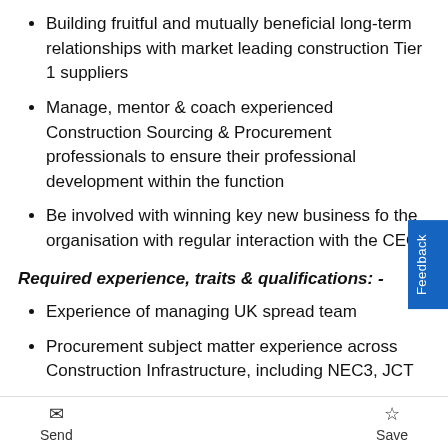Building fruitful and mutually beneficial long-term relationships with market leading construction Tier 1 suppliers
Manage, mentor & coach experienced Construction Sourcing & Procurement professionals to ensure their professional development within the function
Be involved with winning key new business for the organisation with regular interaction with the CEO
Required experience, traits & qualifications: -
Experience of managing UK spread team
Procurement subject matter experience across Construction Infrastructure, including NEC3, JCT contracts
Excellent Stakeholder management with
Send    Save